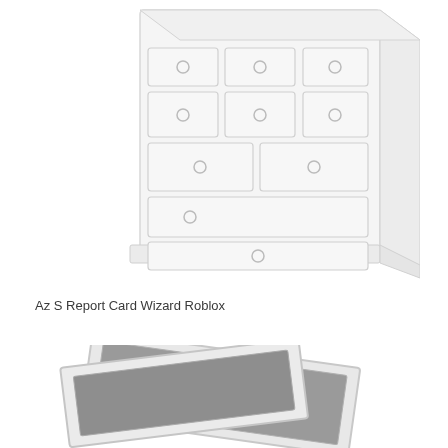[Figure (illustration): A white dresser/chest of drawers with multiple drawers and round ring handles, shown in a slightly angled perspective view on a white background.]
Az S Report Card Wizard Roblox
[Figure (illustration): Two overlapping rectangular frames or cards shown at angles against a white background, with gray/dark shaded interiors suggesting stacked picture frames or cards.]